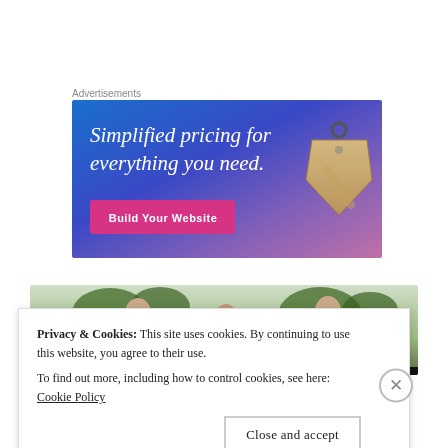Advertisements
[Figure (infographic): Advertisement banner with gradient blue-to-purple background showing 'Simplified pricing for everything you need.' with a pink 'Build Your Website' button and a price tag illustration on the right]
[Figure (photo): Outdoor photo strip showing three people (two men and a woman) with trees in background, and a red/black bar at the bottom]
Privacy & Cookies: This site uses cookies. By continuing to use this website, you agree to their use.
To find out more, including how to control cookies, see here: Cookie Policy
Close and accept